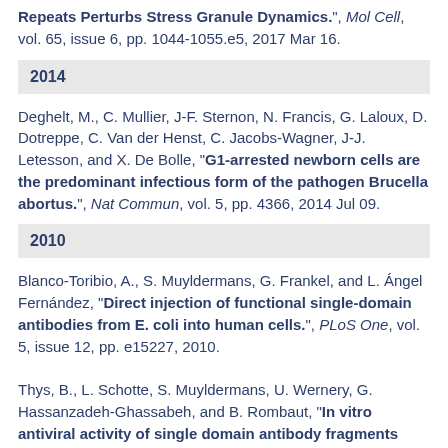Repeats Perturbs Stress Granule Dynamics.", Mol Cell, vol. 65, issue 6, pp. 1044-1055.e5, 2017 Mar 16.
2014
Deghelt, M., C. Mullier, J-F. Sternon, N. Francis, G. Laloux, D. Dotreppe, C. Van der Henst, C. Jacobs-Wagner, J-J. Letesson, and X. De Bolle, "G1-arrested newborn cells are the predominant infectious form of the pathogen Brucella abortus.", Nat Commun, vol. 5, pp. 4366, 2014 Jul 09.
2010
Blanco-Toribio, A., S. Muyldermans, G. Frankel, and L. Ángel Fernández, "Direct injection of functional single-domain antibodies from E. coli into human cells.", PLoS One, vol. 5, issue 12, pp. e15227, 2010.
Thys, B., L. Schotte, S. Muyldermans, U. Wernery, G. Hassanzadeh-Ghassabeh, and B. Rombaut, "In vitro antiviral activity of single domain antibody fragments against poliovirus.", Antiviral Res, vol. 87, issue 2, pp. 257-64, 2010 Aug.